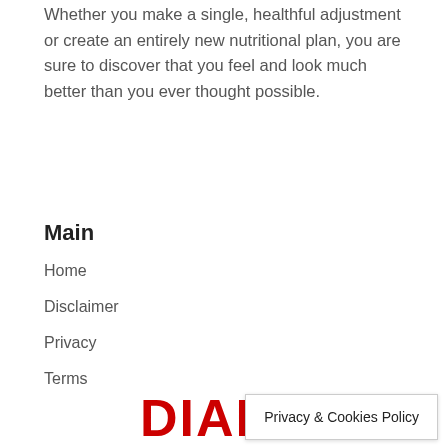Whether you make a single, healthful adjustment or create an entirely new nutritional plan, you are sure to discover that you feel and look much better than you ever thought possible.
Main
Home
Disclaimer
Privacy
Terms
[Figure (logo): DIABETES logo text in bold red letters, partially visible at the bottom of the page]
Privacy & Cookies Policy